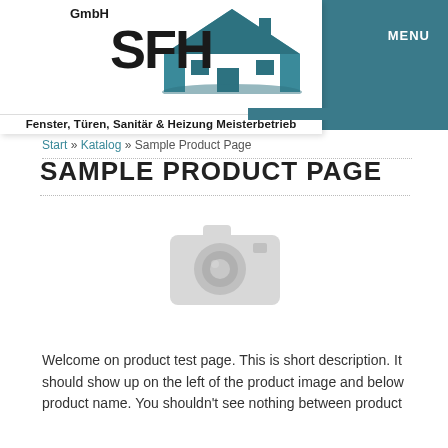[Figure (logo): SFH GmbH logo with house icon and tagline: Fenster, Türen, Sanitär & Heizung Meisterbetrieb]
MENU
Start » Katalog » Sample Product Page
SAMPLE PRODUCT PAGE
[Figure (photo): Camera/no image placeholder icon in light grey]
Welcome on product test page. This is short description. It should show up on the left of the product image and below product name. You shouldn't see nothing between product